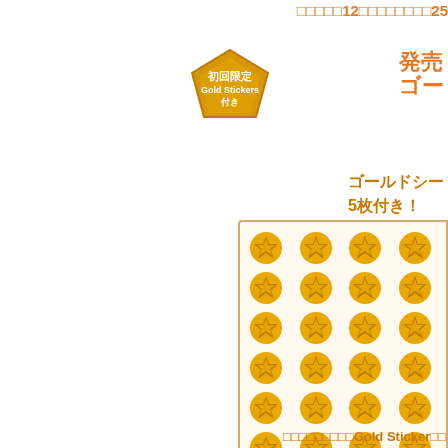□□□□□12□□□□□□□□25
[Figure (illustration): Gold badge/seal with text '初回限定 Gold Stickers 付き' in white on gold pentagon/star shape]
発売 ゴー
ゴールドシー 5枚付き!
[Figure (illustration): Grid of gold star stickers arranged in 10 rows x 4 visible columns on cream/white background panel]
□□□□□□□□□Gold Sticker□□